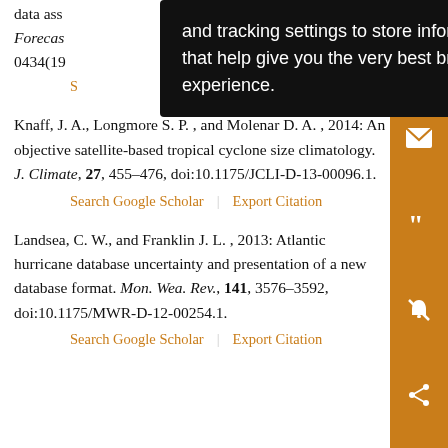[Figure (screenshot): Browser tooltip/cookie consent overlay: 'and tracking settings to store information that help give you the very best browsing experience.']
data ass... Forecas... 0434(19...
Search Google Scholar | Export Citation
Knaff, J. A., Longmore S. P. , and Molenar D. A. , 2014: An objective satellite-based tropical cyclone size climatology. J. Climate, 27, 455–476, doi:10.1175/JCLI-D-13-00096.1.
Search Google Scholar | Export Citation
Landsea, C. W., and Franklin J. L. , 2013: Atlantic hurricane database uncertainty and presentation of a new database format. Mon. Wea. Rev., 141, 3576–3592, doi:10.1175/MWR-D-12-00254.1.
Search Google Scholar | Export Citation